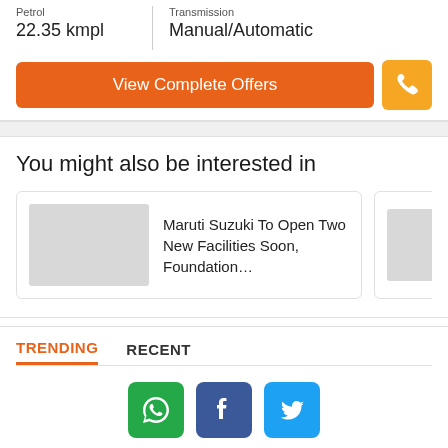Petrol
22.35 kmpl
Transmission
Manual/Automatic
View Complete Offers
You might also be interested in
Maruti Suzuki To Open Two New Facilities Soon, Foundation…
Car… Mat… (Aug…
TRENDING
RECENT